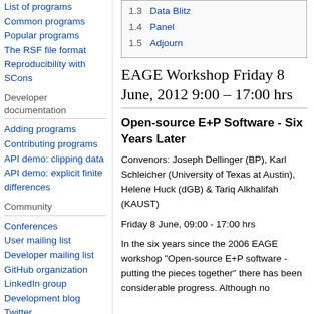List of programs
Common programs
Popular programs
The RSF file format
Reproducibility with SCons
Developer documentation
Adding programs
Contributing programs
API demo: clipping data
API demo: explicit finite differences
Community
Conferences
User mailing list
Developer mailing list
GitHub organization
LinkedIn group
Development blog
Twitter
Slack
| 1.3 | Data Blitz |
| 1.4 | Panel |
| 1.5 | Adjourn |
EAGE Workshop Friday 8 June, 2012 9:00 – 17:00 hrs
Open-source E+P Software - Six Years Later
Convenors: Joseph Dellinger (BP), Karl Schleicher (University of Texas at Austin), Helene Huck (dGB) & Tariq Alkhalifah (KAUST)
Friday 8 June, 09:00 - 17:00 hrs
In the six years since the 2006 EAGE workshop "Open-source E+P software - putting the pieces together" there has been considerable progress. Although no